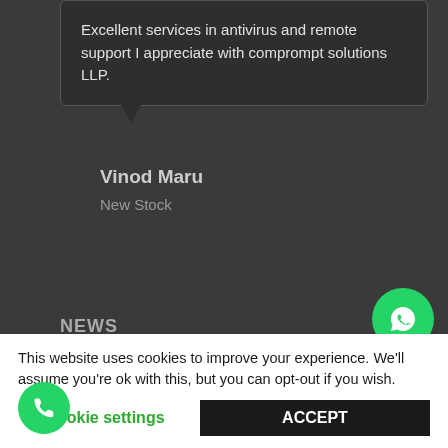Excellent services in antivirus and remote support I appreciate with comprompt solutions LLP.
Vinod Maru
New Stock
NEWS
How Security Business Consolidation Impacts The Channels Comprompt Solution by VarIndia Comprompt inculcates into clients an understanding that IT knows no boundaries - VarIndia Comprompt Solution retain its position in the Top 100 Solu...
This website uses cookies to improve your experience. We'll assume you're ok with this, but you can opt-out if you wish.
Cookie settings
ACCEPT